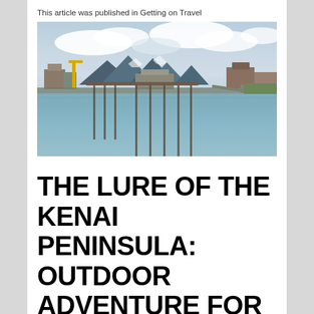This article was published in Getting on Travel
[Figure (photo): Coastal dock/pier scene with stilted buildings and boats reflected in calm water, mountains and cloudy sky in background — Homer, Alaska harbor area]
THE LURE OF THE KENAI PENINSULA: OUTDOOR ADVENTURE FOR OLDER TRAVELERS